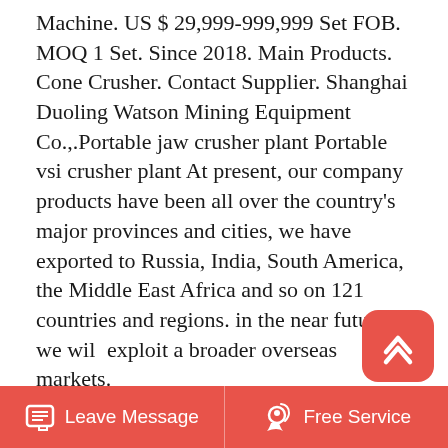Machine. US $ 29,999-999,999 Set FOB. MOQ 1 Set. Since 2018. Main Products. Cone Crusher. Contact Supplier. Shanghai Duoling Watson Mining Equipment Co.,.Portable jaw crusher plant Portable vsi crusher plant At present, our company products have been all over the country's major provinces and cities, we have exported to Russia, India, South America, the Middle East Africa and so on 121 countries and regions. in the near future, we will exploit a broader overseas markets.
[Figure (other): Back to top button — red rounded square with white upward chevron icon]
Portable Vsi Crusher Plant
Vsi Stone Crusher - Manufacturers, Suppliers, Factory from China. We are going to dedicate ourselves to providing our esteemed buyers together
Leave Message   Free Service